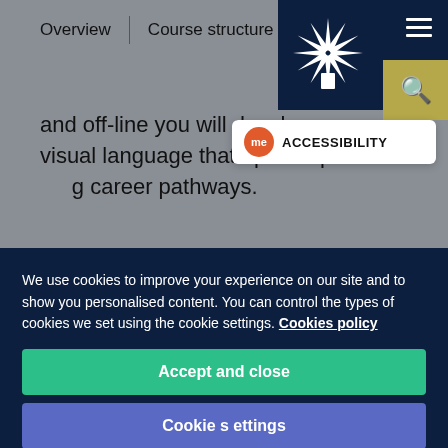Overview | Course structure
[Figure (logo): University emblem/logo - white starburst/crown shape on dark navy background]
and off-line you will develop your visual language that opens up a wide range of career pathways.
[Figure (other): Accessibility badge with orange 'me' circle icon and text 'ACCESSIBILITY']
We use cookies to improve your experience on our site and to show you personalised content. You can control the types of cookies we set using the cookie settings. Cookies policy
Accept and close
Cookie settings